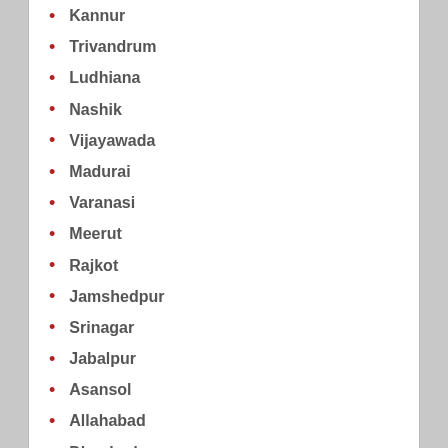Kannur
Trivandrum
Ludhiana
Nashik
Vijayawada
Madurai
Varanasi
Meerut
Rajkot
Jamshedpur
Srinagar
Jabalpur
Asansol
Allahabad
Dhanbad
Aurangabad
Amritsar